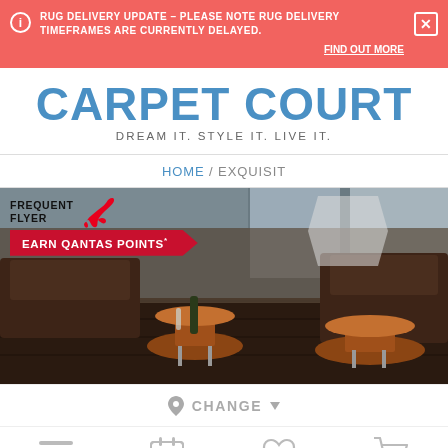RUG DELIVERY UPDATE – PLEASE NOTE RUG DELIVERY TIMEFRAMES ARE CURRENTLY DELAYED. FIND OUT MORE
CARPET COURT
DREAM IT. STYLE IT. LIVE IT.
HOME / EXQUISIT
[Figure (screenshot): Qantas Frequent Flyer promo banner and hero image of a lounge interior with dark wood flooring and leather furniture]
CHANGE
Navigation icons: menu, calendar, wishlist/heart, cart